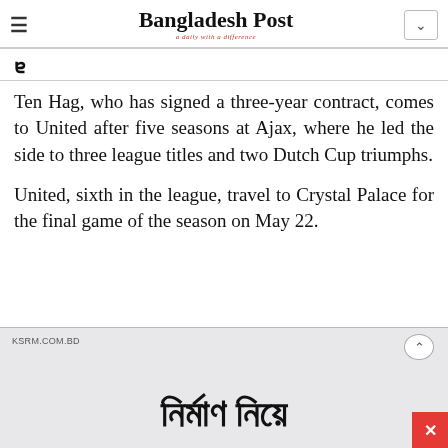Bangladesh Post — a daily with a difference
Ten Hag, who has signed a three-year contract, comes to United after five seasons at Ajax, where he led the side to three league titles and two Dutch Cup triumphs.
United, sixth in the league, travel to Crystal Palace for the final game of the season on May 22.
[Figure (advertisement): KSRM.COM.BD advertisement banner with Bengali text reading 'নির্মাণ নিয়ে' and a close button]